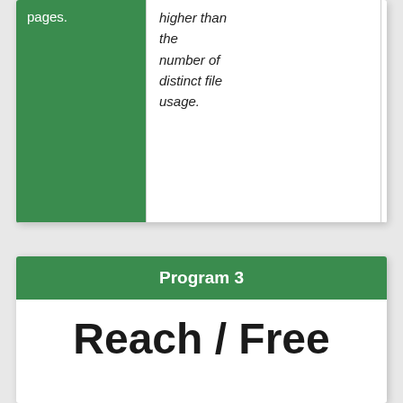| pages. | higher than the number of distinct file usage. |  |
Program 3
Reach / Free